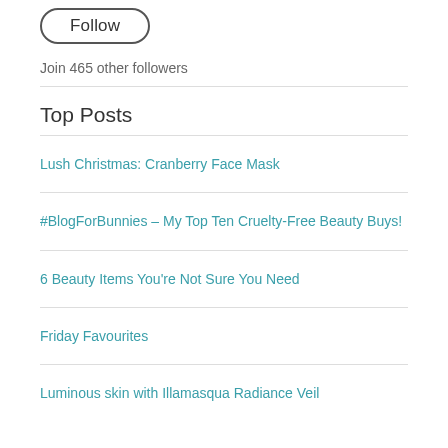[Figure (other): A rounded pill-shaped Follow button with dark border on white background]
Join 465 other followers
Top Posts
Lush Christmas: Cranberry Face Mask
#BlogForBunnies – My Top Ten Cruelty-Free Beauty Buys!
6 Beauty Items You're Not Sure You Need
Friday Favourites
Luminous skin with Illamasqua Radiance Veil